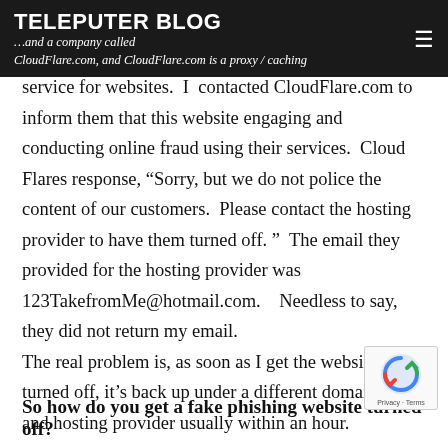TELEPUTER BLOG
service for websites.  I  contacted CloudFlare.com to inform them that this website engaging and conducting online fraud using their services.  Cloud Flares response, “Sorry, but we do not police the content of our customers.  Please contact the hosting provider to have them turned off. ”  The email they provided for the hosting provider was 123TakefromMe@hotmail.com.    Needless to say, they did not return my email.
The real problem is, as soon as I get the website turned off, it’s back up under a different domain name and hosting provider usually within an hour.
So how do you get a fake phishing website turned off?